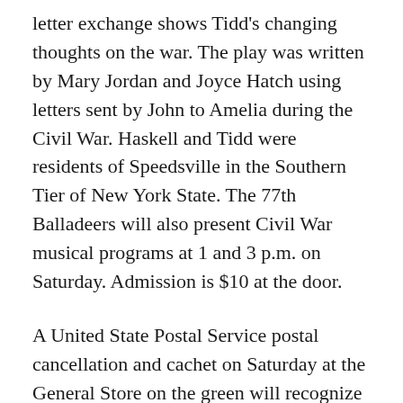letter exchange shows Tidd's changing thoughts on the war. The play was written by Mary Jordan and Joyce Hatch using letters sent by John to Amelia during the Civil War. Haskell and Tidd were residents of Speedsville in the Southern Tier of New York State. The 77th Balladeers will also present Civil War musical programs at 1 and 3 p.m. on Saturday. Admission is $10 at the door.
A United State Postal Service postal cancellation and cachet on Saturday at the General Store on the green will recognize the United States Colored Troops and Lincoln's Preliminary Emancipation Proclamation, which was owned by Gerrit Smith of Peterboro. The General Store will also carry an abundance of Civil War and other historical items. A Civil War sword made for Gods and Generals will be available for silent auction. Admission and ...